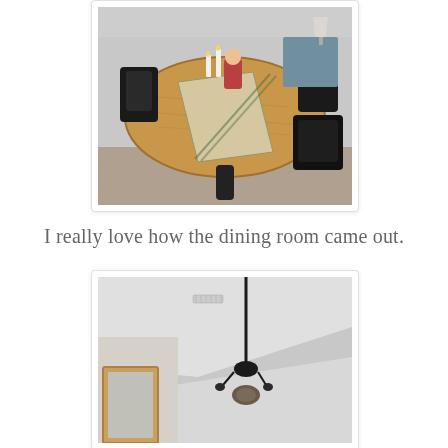[Figure (photo): A round wooden dining table with black legs and black chairs, set with candles, a nutcracker figurine, and a table runner. A lamp and blue dresser are visible in the background.]
I really love how the dining room came out.
[Figure (photo): Interior room view looking up showing a white ceiling with a pendant black chandelier hanging down, a wooden framed mirror on the left wall, and a white wall.]